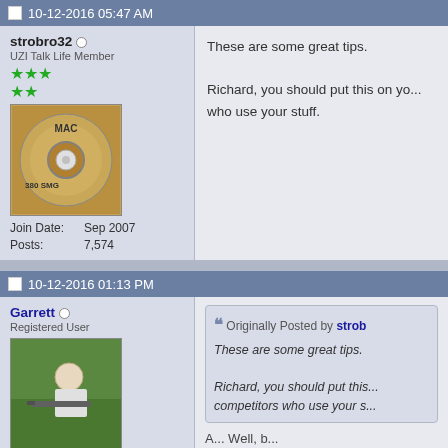10-12-2016 05:47 AM
strobro32 — UZI Talk Life Member — Join Date: Sep 2007 — Posts: 7,574
These are some great tips.

Richard, you should put this on yo... who use your stuff.
10-12-2016 01:13 PM
Garrett — Registered User — Join Date: May 2004
Originally Posted by strobro32 — These are some great tips. Richard, you should put this... competitors who use your s...